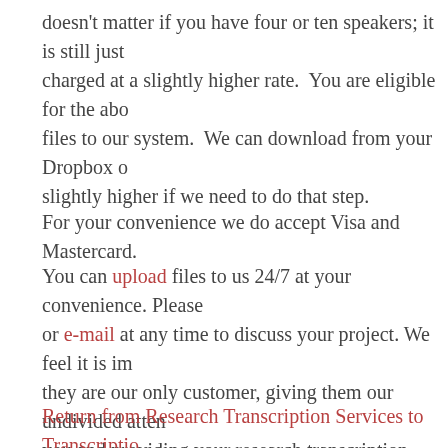doesn't matter if you have four or ten speakers; it is still just charged at a slightly higher rate.  You are eligible for the abo files to our system.  We can download from your Dropbox o slightly higher if we need to do that step.
For your convenience we do accept Visa and Mastercard.
You can upload files to us 24/7 at your convenience. Please or e-mail at any time to discuss your project. We feel it is im they are our only customer, giving them our undivided atten you and providing your research transcription services need
Return from Research Transcription Services to Transcriptio